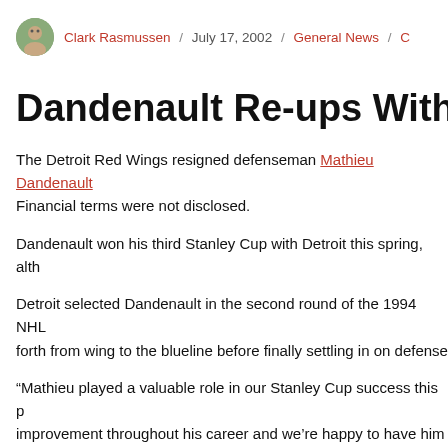Clark Rasmussen / July 17, 2002 / General News / C
Dandenault Re-ups With
The Detroit Red Wings resigned defenseman Mathieu Dandenault. Financial terms were not disclosed.
Dandenault won his third Stanley Cup with Detroit this spring, alth
Detroit selected Dandenault in the second round of the 1994 NHL forth from wing to the blueline before finally settling in on defense
“Mathieu played a valuable role in our Stanley Cup success this p improvement throughout his career and we’re happy to have him c
With the signing of Dandenault, the Red Wings have four remainin are all unrestricted free agents who played with Detroit last seaso